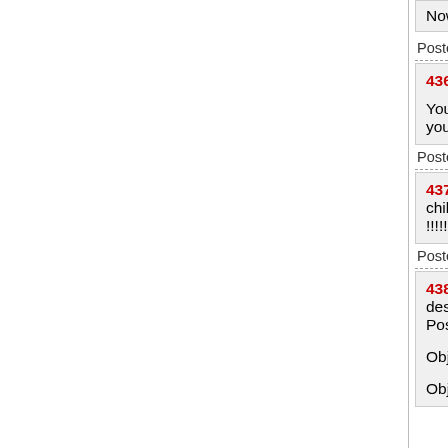Now youse can't leave.
Posted by: Chazz Palmister at October 28, 2015 11:
436 Posted by: Mortimer at October 28, 201
You keep deflecting. Again, if you honestly you do, I hope you do not have children.
Posted by: Insomniac at October 28, 2015 11:28 AM
437 We do not approve of the latest DoD bu children and not kill them like Bush did duri !!!!!!!!!!!
Posted by: Mary Clogginstein from Brattleboro, VT
438 Grab her by the neck, dump her backwa desk, drag and then throw her across the flo Posted by: Insomniac
Objective #1: haul a suspect out of a car.
Objective #2: haul a suspect out of a room o